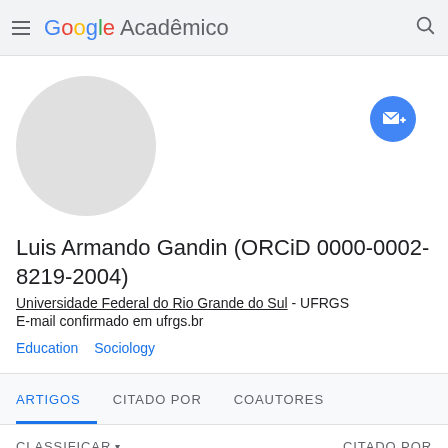Google Acadêmico
[Figure (photo): Circular avatar placeholder (light gray circle, no photo)]
[Figure (other): Blue circular follow/email button with envelope icon in top-right corner]
Luis Armando Gandin (ORCiD 0000-0002-8219-2004)
Universidade Federal do Rio Grande do Sul - UFRGS
E-mail confirmado em ufrgs.br
Education
Sociology
ARTIGOS
CITADO POR
COAUTORES
CLASSIFICAR ▾
CITADO POR